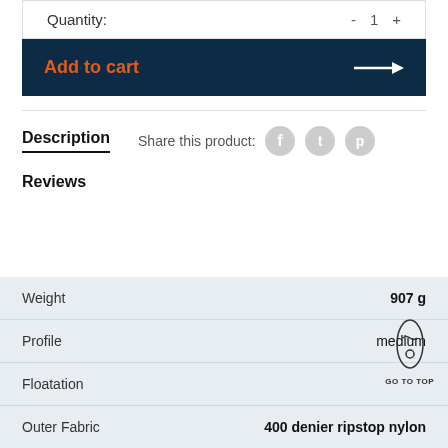Quantity: - 1 +
Add to cart →
Description
Share this product:
Reviews
| Property | Value |
| --- | --- |
| Weight | 907 g |
| Profile | medium |
| Floatation |  |
| Outer Fabric | 400 denier ripstop nylon |